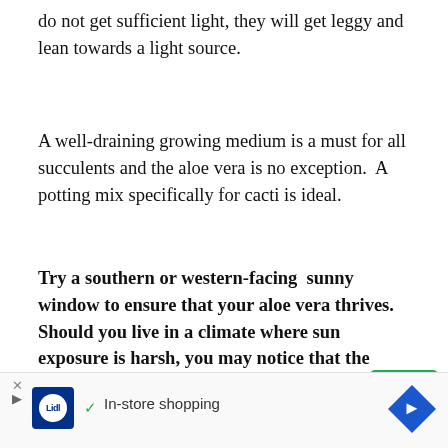do not get sufficient light, they will get leggy and lean towards a light source.
A well-draining growing medium is a must for all succulents and the aloe vera is no exception.  A potting mix specifically for cacti is ideal.
Try a southern or western-facing  sunny window to ensure that your aloe vera thrives. Should you live in a climate where sun exposure is harsh, you may notice that the plant's leaves fade or grow brown spots. That's due to strong, direct sun exposure. Move the plant to a windowsill with milder exposure.
[Figure (other): Advertisement banner with Lidl logo and 'In-store shopping' text with navigation icon]